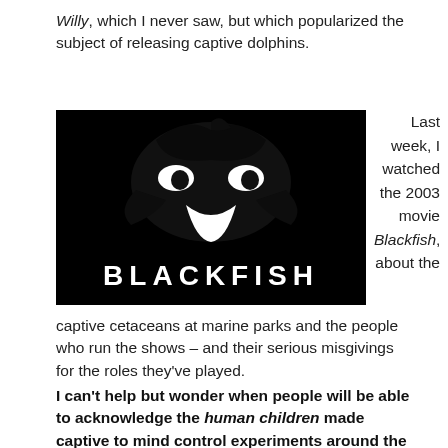Willy, which I never saw, but which popularized the subject of releasing captive dolphins.
[Figure (photo): Black and white movie poster for 'Blackfish' showing an orca killer whale silhouette from behind with the title BLACKFISH in large letters]
Last week, I watched the 2003 movie Blackfish, about the captive cetaceans at marine parks and the people who run the shows – and their serious misgivings for the roles they've played.
I can't help but wonder when people will be able to acknowledge the human children made captive to mind control experiments around the world, mainly in America.